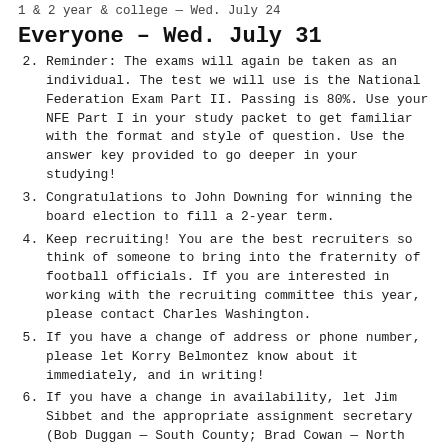1 & 2 year & college — Wed. July 24
Everyone – Wed. July 31
Reminder: The exams will again be taken as an individual. The test we will use is the National Federation Exam Part II. Passing is 80%. Use your NFE Part I in your study packet to get familiar with the format and style of question. Use the answer key provided to go deeper in your studying!
Congratulations to John Downing for winning the board election to fill a 2-year term.
Keep recruiting! You are the best recruiters so think of someone to bring into the fraternity of football officials. If you are interested in working with the recruiting committee this year, please contact Charles Washington.
If you have a change of address or phone number, please let Korry Belmontez know about it immediately, and in writing!
If you have a change in availability, let Jim Sibbet and the appropriate assignment secretary (Bob Duggan — South County; Brad Cowan — North County) know immediately, and in writing!
If you want a copy of the association's annual budget – See Bob Smith, or board meeting minutes see Nathan Weiss.